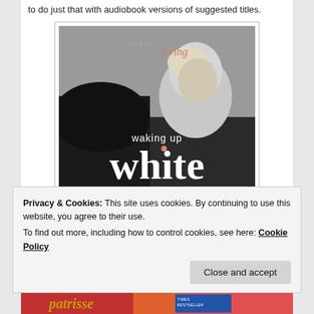to do just that with audiobook versions of suggested titles.
[Figure (photo): Book cover of 'Waking Up White and Finding Myself in the Story of Race' by Debby Irving. Black and white photo of a young blonde child looking upward. Large white text reads 'white' with 'waking up' above it and subtitle below.]
Privacy & Cookies: This site uses cookies. By continuing to use this website, you agree to their use.
To find out more, including how to control cookies, see here: Cookie Policy
[Figure (photo): Partial bottom strip showing another book cover with colorful text 'patrisse' visible, marked as Times Bestseller.]